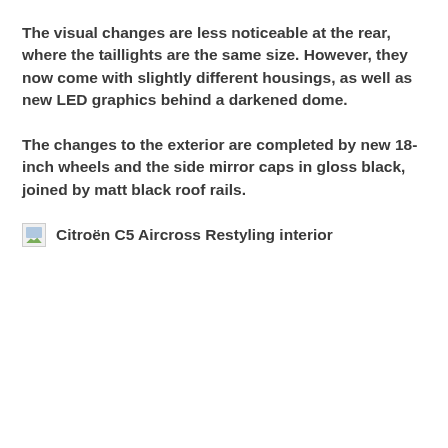The visual changes are less noticeable at the rear, where the taillights are the same size. However, they now come with slightly different housings, as well as new LED graphics behind a darkened dome.
The changes to the exterior are completed by new 18-inch wheels and the side mirror caps in gloss black, joined by matt black roof rails.
[Figure (photo): Broken image placeholder for Citroën C5 Aircross Restyling interior with alt text label]